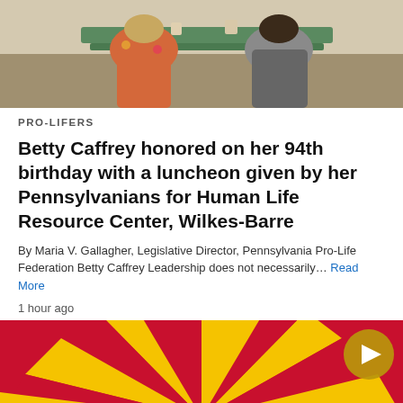[Figure (photo): Photo of people seated at a table, partial view of a luncheon scene.]
PRO-LIFERS
Betty Caffrey honored on her 94th birthday with a luncheon given by her Pennsylvanians for Human Life Resource Center, Wilkes-Barre
By Maria V. Gallagher, Legislative Director, Pennsylvania Pro-Life Federation Betty Caffrey Leadership does not necessarily… Read More
1 hour ago
[Figure (photo): Arizona state flag with red and yellow sunburst rays on red background, with a circular play button icon in the top-right corner.]
[Figure (other): Social sharing bar with Twitter, Gmail, Pinterest, LinkedIn, WhatsApp, and Line buttons.]